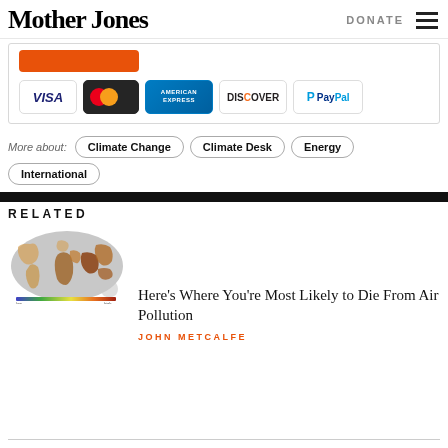Mother Jones | DONATE
[Figure (other): Payment section with orange button and credit card logos: VISA, MasterCard, American Express, Discover, PayPal]
More about: Climate Change   Climate Desk   Energy
International
RELATED
[Figure (map): World map showing air pollution mortality risk by region, with brown/orange shading over high-risk areas including South Asia, East Asia, and parts of Africa]
Here’s Where You’re Most Likely to Die From Air Pollution
JOHN METCALFE